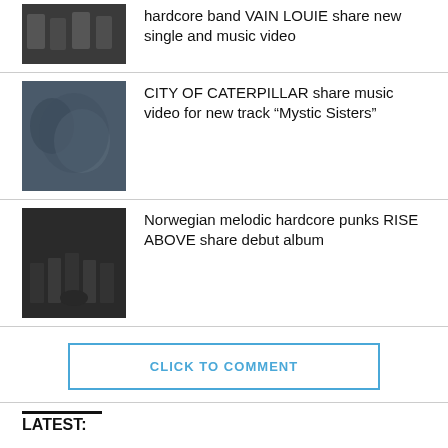[Figure (photo): Band photo - hardcore band VAIN LOUIE, group of people in dark clothing]
hardcore band VAIN LOUIE share new single and music video
[Figure (photo): Band photo - CITY OF CATERPILLAR, group of people with blurred/artistic style]
CITY OF CATERPILLAR share music video for new track “Mystic Sisters”
[Figure (photo): Band photo - RISE ABOVE, Norwegian melodic hardcore punks group in black clothing]
Norwegian melodic hardcore punks RISE ABOVE share debut album
CLICK TO COMMENT
LATEST:
[Figure (photo): Photo of person or band for Interviews section]
INTERVIEWS
Swedish post hardcore act DIVISION